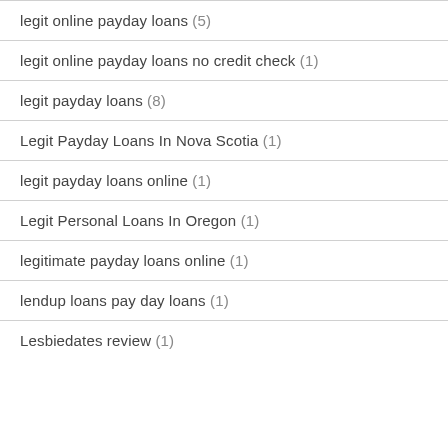legit online payday loans (5)
legit online payday loans no credit check (1)
legit payday loans (8)
Legit Payday Loans In Nova Scotia (1)
legit payday loans online (1)
Legit Personal Loans In Oregon (1)
legitimate payday loans online (1)
lendup loans pay day loans (1)
Lesbiedates review (1)